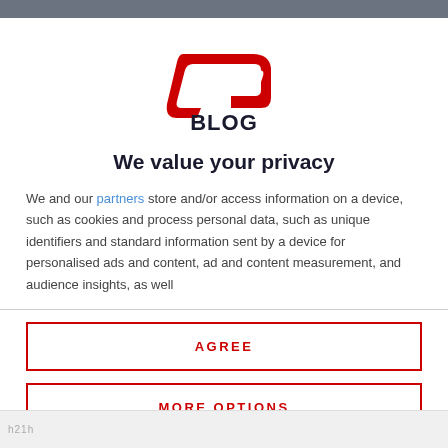[Figure (logo): GPBlog logo — red stylized 'GP' letters with dark navy 'BLOG' text beneath]
We value your privacy
We and our partners store and/or access information on a device, such as cookies and process personal data, such as unique identifiers and standard information sent by a device for personalised ads and content, ad and content measurement, and audience insights, as well
AGREE
MORE OPTIONS